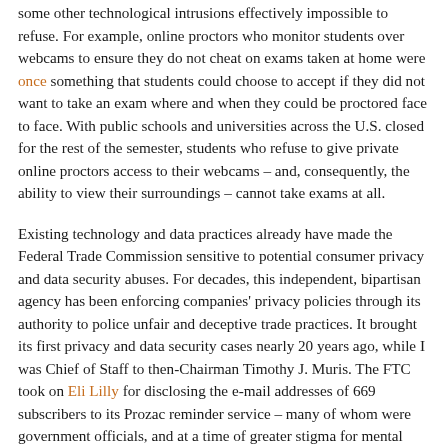some other technological intrusions effectively impossible to refuse. For example, online proctors who monitor students over webcams to ensure they do not cheat on exams taken at home were once something that students could choose to accept if they did not want to take an exam where and when they could be proctored face to face. With public schools and universities across the U.S. closed for the rest of the semester, students who refuse to give private online proctors access to their webcams – and, consequently, the ability to view their surroundings – cannot take exams at all.
Existing technology and data practices already have made the Federal Trade Commission sensitive to potential consumer privacy and data security abuses. For decades, this independent, bipartisan agency has been enforcing companies' privacy policies through its authority to police unfair and deceptive trade practices. It brought its first privacy and data security cases nearly 20 years ago, while I was Chief of Staff to then-Chairman Timothy J. Muris. The FTC took on Eli Lilly for disclosing the e-mail addresses of 669 subscribers to its Prozac reminder service – many of whom were government officials, and at a time of greater stigma for mental health issues – and Microsoft for (among other things) falsely claiming that its Passport website sign-in service did not collect any personally identifiable information other than that described in its privacy